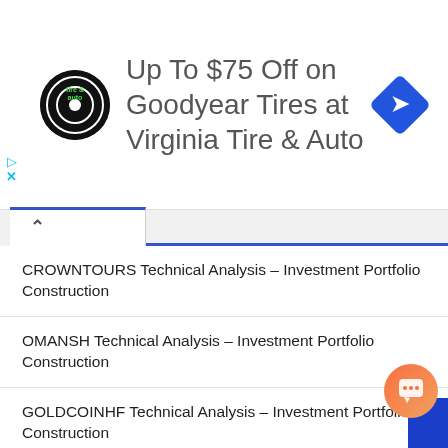[Figure (other): Advertisement banner: Virginia Tire & Auto logo (circular black logo with tire), text 'Up To $75 Off on Goodyear Tires at Virginia Tire & Auto', blue diamond navigation icon on right, play and close controls on left]
CROWNTOURS Technical Analysis – Investment Portfolio Construction
OMANSH Technical Analysis – Investment Portfolio Construction
GOLDCOINHF Technical Analysis – Investment Portfolio Construction
SKIPPER Technical Analysis – Investment Portfolio Construction
JAMESWARREN Technical Analysis – Investment